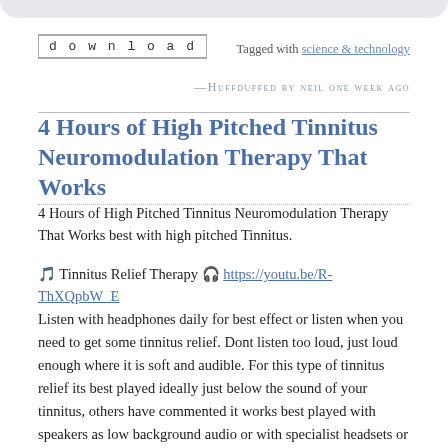[Figure (other): Top rounded bar/header element]
download
Tagged with science & technology
—Huffduffed by neil one week ago
4 Hours of High Pitched Tinnitus Neuromodulation Therapy That Works
4 Hours of High Pitched Tinnitus Neuromodulation Therapy That Works best with high pitched Tinnitus.
🎵 Tinnitus Relief Therapy 🎧 https://youtu.be/R-ThXQpbW_E
Listen with headphones daily for best effect or listen when you need to get some tinnitus relief. Dont listen too loud, just loud enough where it is soft and audible. For this type of tinnitus relief its best played ideally just below the sound of your tinnitus, others have commented it works best played with speakers as low background audio or with specialist headsets or